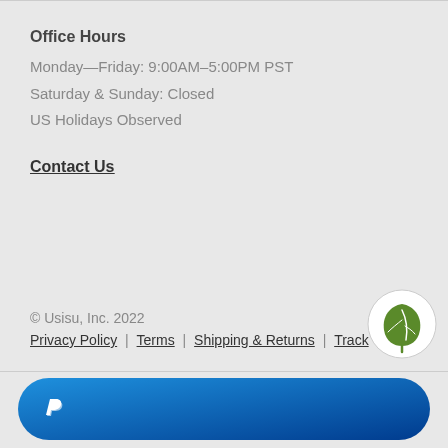Office Hours
Monday—Friday: 9:00AM–5:00PM PST
Saturday & Sunday: Closed
US Holidays Observed
Contact Us
© Usisu, Inc. 2022
Privacy Policy | Terms | Shipping & Returns | Track
[Figure (logo): Green leaf icon in white circle]
[Figure (logo): PayPal logo button - blue rounded rectangle with white PayPal P icon]